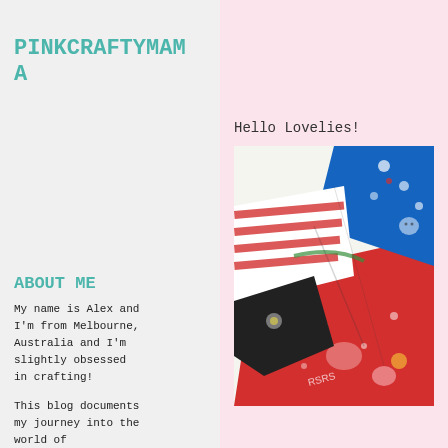PINKCRAFTYMAMA
ABOUT ME
My name is Alex and I'm from Melbourne, Australia and I'm slightly obsessed in crafting!
This blog documents my journey into the world of scrapbooking, and
Hello Lovelies!
[Figure (photo): Colorful patterned fabrics including red with cartoon characters, blue with Hello Kitty patterns, and red/white striped fabric arranged together]